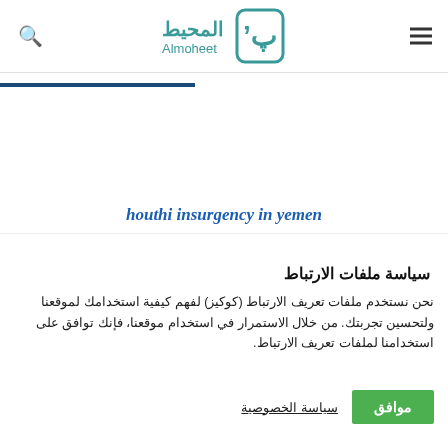Almoheet المحيط — navigation header with search and menu icons
houthi insurgency in yemen
سياسة ملفات الارتباط
نحن نستخدم ملفات تعريف الارتباط (كوكيز) لفهم كيفية استخدامك لموقعنا ولتحسين تجربتك. من خلال الاستمرار في استخدام موقعنا، فإنك توافق على استخدامنا لملفات تعريف الارتباط.
موافق — سياسة الخصوصية